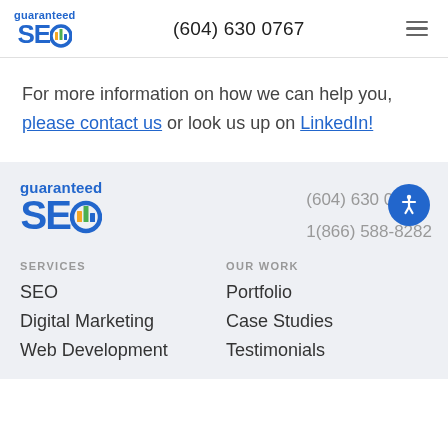guaranteed SEO | (604) 630 0767
For more information on how we can help you, please contact us or look us up on LinkedIn!
[Figure (logo): Guaranteed SEO logo (large) in footer with phone numbers (604) 630 0767 and 1(866) 588-8282]
SERVICES
SEO
Digital Marketing
Web Development
OUR WORK
Portfolio
Case Studies
Testimonials